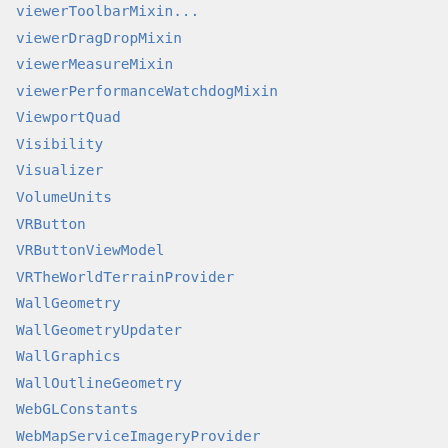viewerToolbarMixin (partial)
viewerDragDropMixin
viewerMeasureMixin
viewerPerformanceWatchdogMixin
ViewportQuad
Visibility
Visualizer
VolumeUnits
VRButton
VRButtonViewModel
VRTheWorldTerrainProvider
WallGeometry
WallGeometryUpdater
WallGraphics
WallOutlineGeometry
WebGLConstants
WebMapServiceImageryProvider
WebMapTileServiceImageryProvider
WebMercatorProjection
WebMercatorTilingScheme